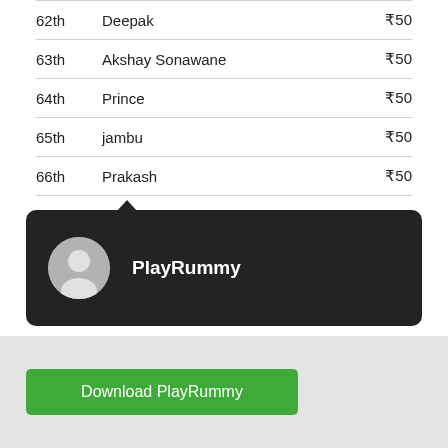| Rank | Name | Amount |
| --- | --- | --- |
| 62th | Deepak | ₹50 |
| 63th | Akshay Sonawane | ₹50 |
| 64th | Prince | ₹50 |
| 65th | jambu | ₹50 |
| 66th | Prakash | ₹50 |
[Figure (other): Dark tooltip popup with user avatar silhouette and username PlayRummy]
Download PlayRummy